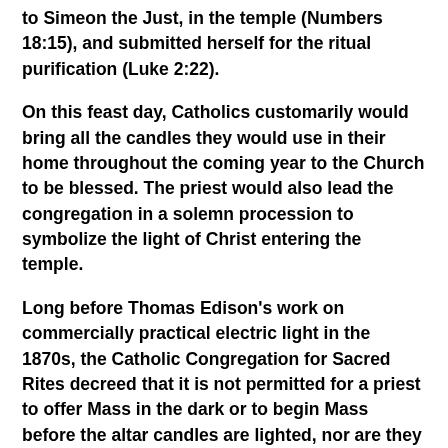to Simeon the Just, in the temple (Numbers 18:15), and submitted herself for the ritual purification (Luke 2:22).
On this feast day, Catholics customarily would bring all the candles they would use in their home throughout the coming year to the Church to be blessed. The priest would also lead the congregation in a solemn procession to symbolize the light of Christ entering the temple.
Long before Thomas Edison's work on commercially practical electric light in the 1870s, the Catholic Congregation for Sacred Rites decreed that it is not permitted for a priest to offer Mass in the dark or to begin Mass before the altar candles are lighted, nor are they to be extinguished until the end of Mass. If the candles burn out before the Consecration of the Eucharist, and cannot be relit, the Mass should be discontinued. Going further,